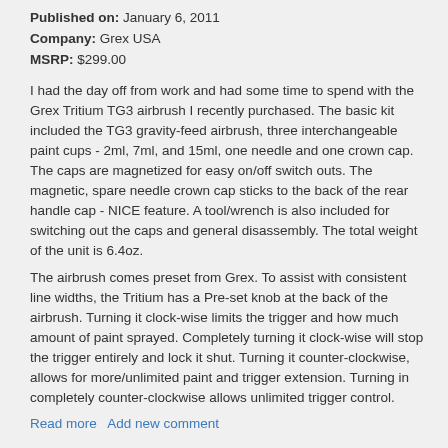Published on: January 6, 2011
Company: Grex USA
MSRP: $299.00
I had the day off from work and had some time to spend with the Grex Tritium TG3 airbrush I recently purchased. The basic kit included the TG3 gravity-feed airbrush, three interchangeable paint cups - 2ml, 7ml, and 15ml, one needle and one crown cap. The caps are magnetized for easy on/off switch outs. The magnetic, spare needle crown cap sticks to the back of the rear handle cap - NICE feature. A tool/wrench is also included for switching out the caps and general disassembly. The total weight of the unit is 6.4oz.
The airbrush comes preset from Grex. To assist with consistent line widths, the Tritium has a Pre-set knob at the back of the airbrush. Turning it clock-wise limits the trigger and how much amount of paint sprayed. Completely turning it clock-wise will stop the trigger entirely and lock it shut. Turning it counter-clockwise, allows for more/unlimited paint and trigger extension. Turning in completely counter-clockwise allows unlimited trigger control.
Read more   Add new comment